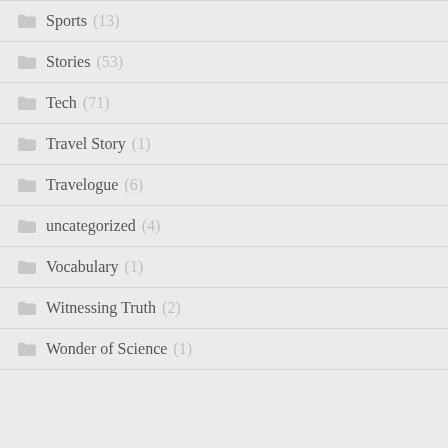Sports (13)
Stories (53)
Tech (71)
Travel Story (1)
Travelogue (6)
uncategorized (4)
Vocabulary (1)
Witnessing Truth (2)
Wonder of Science (1)